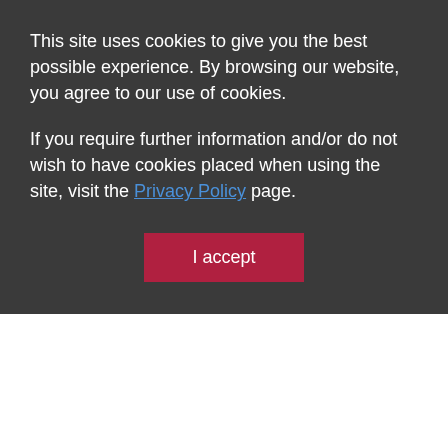This site uses cookies to give you the best possible experience. By browsing our website, you agree to our use of cookies.
If you require further information and/or do not wish to have cookies placed when using the site, visit the Privacy Policy page.
I accept
Aguas termales